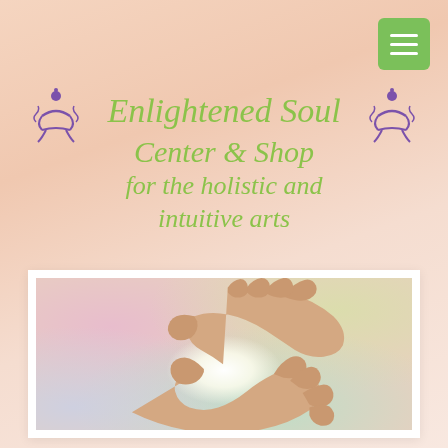[Figure (other): Green hamburger/menu icon button in top right corner]
Enlightened Soul Center & Shop for the holistic and intuitive arts
[Figure (illustration): Two hands with palms facing each other with glowing light between them, on a soft colorful bokeh background]